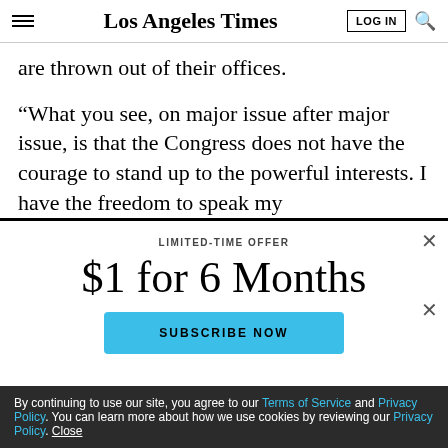Los Angeles Times
are thrown out of their offices.
“What you see, on major issue after major issue, is that the Congress does not have the courage to stand up to the powerful interests. I have the freedom to speak my
LIMITED-TIME OFFER
$1 for 6 Months
SUBSCRIBE NOW
By continuing to use our site, you agree to our Terms of Service and Privacy Policy. You can learn more about how we use cookies by reviewing our Privacy Policy. Close